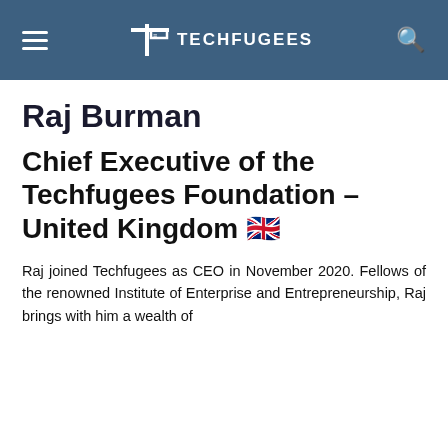TECHFUGEES
Raj Burman
Chief Executive of the Techfugees Foundation – United Kingdom 🇬🇧
Raj joined Techfugees as CEO in November 2020. Fellows of the renowned Institute of Enterprise and Entrepreneurship, Raj brings with him a wealth of